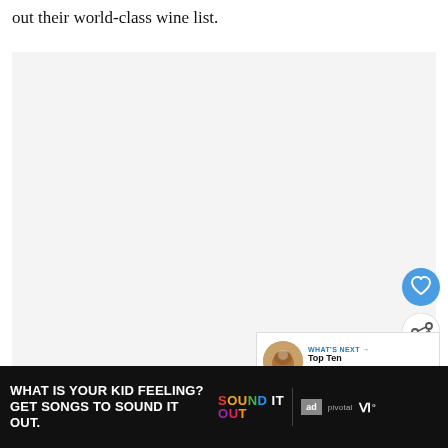out their world-class wine list.
[Figure (photo): Large light gray image area placeholder, approximately square, with white/light background]
[Figure (infographic): Blue circular heart/like button icon]
[Figure (infographic): White circular share button icon with share symbol]
[Figure (screenshot): What's Next card showing a circular thumbnail of a Starbucks drink and text 'WHAT'S NEXT → Top Ten Starbucks...']
[Figure (infographic): Black advertisement banner: 'WHAT IS YOUR KID FEELING? GET SONGS TO SOUND IT OUT.' with Sound It Out, Ad Council, Pivotal, and W logos]